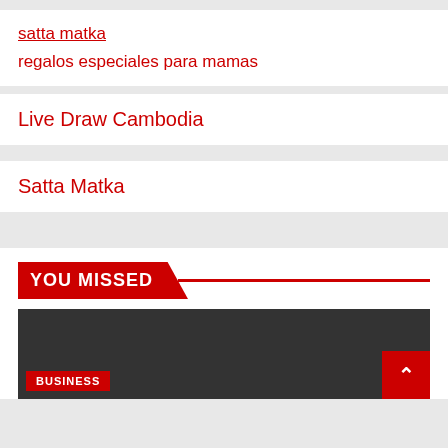satta matka
regalos especiales para mamas
Live Draw Cambodia
Satta Matka
YOU MISSED
[Figure (screenshot): Dark grey image placeholder with a red BUSINESS badge at bottom left and a red scroll-to-top button at bottom right with an upward chevron arrow.]